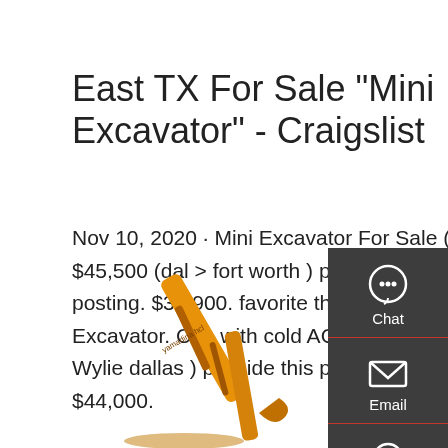East TX For Sale "Mini Excavator" - Craigslist
Nov 10, 2020 · Mini Excavator For Sale (Reduced Pricing) $45,500 (dal > fort worth ) pic hide this posting restore restore this posting. $39,900. favorite this post Nov 8. 2011 Deere 35D Mini Excavator. Cab with cold AC. Third Valve. 1,648 hr. $39,900 (dal > Wylie dallas ) pic hide this posting restore restore this posting. $44,000.
[Figure (screenshot): Red 'Get a quote' button]
[Figure (photo): Photo of a yellow mini excavator arm/boom against white background]